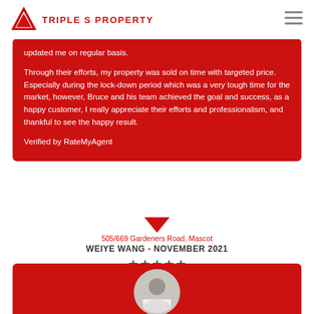TRIPLE S PROPERTY
updated me on regular basis.

Through their efforts, my property was sold on time with targeted price. Especially during the lock-down period which was a very tough time for the market, however, Bruce and his team achieved the goal and success, as a happy customer, I really appreciate their efforts and professionalism, and thankful to see the happy result.

Verified by RateMyAgent
505/669 Gardeners Road, Mascot
WEIYE WANG - NOVEMBER 2021
[Figure (other): 5 filled star rating icons]
[Figure (photo): Circular avatar photo of a woman in white, partially visible at bottom of page]